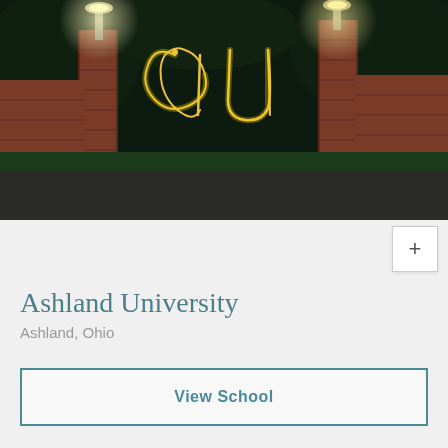[Figure (photo): Night photo of Ashland University campus entrance gate with brick pillars and lights. A long-exposure light painting spells out 'au' in glowing cursive letters in the air. The background shows green trees under dark sky illuminated by lamposts.]
Ashland University
Ashland, Ohio
View School